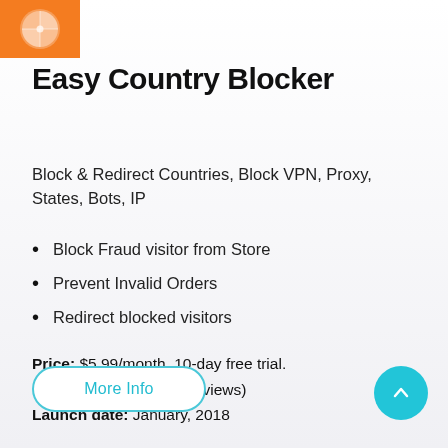[Figure (logo): Orange square logo with a citrus/orange slice icon in white]
Easy Country Blocker
Block & Redirect Countries, Block VPN, Proxy, States, Bots, IP
Block Fraud visitor from Store
Prevent Invalid Orders
Redirect blocked visitors
Price: $5.99/month. 10-day free trial.
Rating: 4.60 stars (52 reviews)
Launch date: January, 2018